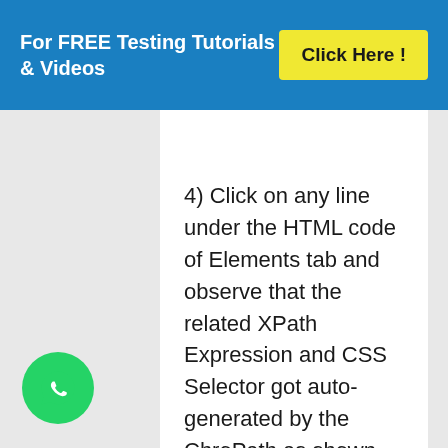For FREE Testing Tutorials & Videos   Click Here !
4) Click on any line under the HTML code of Elements tab and observe that the related XPath Expression and CSS Selector got auto-generated by the ChroPath as shown below:
[Figure (logo): WhatsApp green circle icon with phone handset symbol]